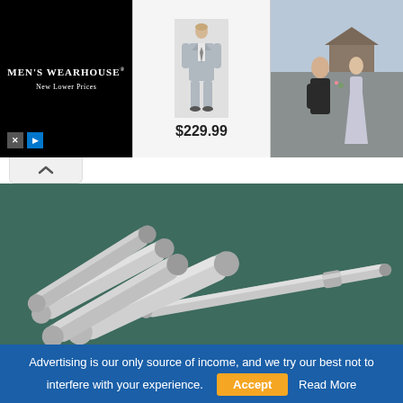[Figure (photo): Men's Wearhouse advertisement banner with suit photo and wedding couple, price $229.99]
[Figure (photo): Close-up photo of polished steel cylindrical rods and machined parts arranged on a dark teal surface]
China 45 Steel Equivalent, Mechanical Properties & Chemical Composition
China 45 Steel Chinese GB standard 45 steel is a quality carbon structural steel, the cold plasticity is common. Annealing and normalizing are slightly better than quenching and tempering, and have high strength and good machinability for certain...
Advertising is our only source of income, and we try our best not to interfere with your experience. Accept Read More